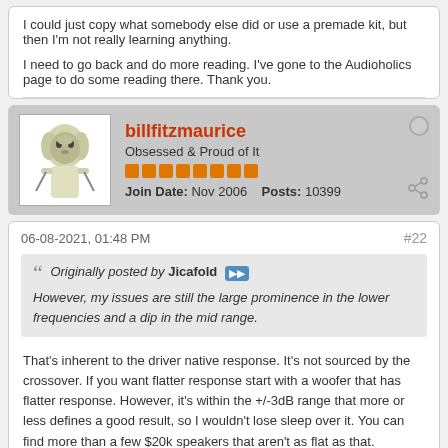I could just copy what somebody else did or use a premade kit, but then I'm not really learning anything.

I need to go back and do more reading. I've gone to the Audioholics page to do some reading there. Thank you.
billfitzmaurice
Obsessed & Proud of It
Join Date: Nov 2006  Posts: 10399
06-08-2021, 01:48 PM
#22
Originally posted by Jicafold
However, my issues are still the large prominence in the lower frequencies and a dip in the mid range.
That's inherent to the driver native response. It's not sourced by the crossover. If you want flatter response start with a woofer that has flatter response. However, it's within the +/-3dB range that more or less defines a good result, so I wouldn't lose sleep over it. You can find more than a few $20k speakers that aren't as flat as that.